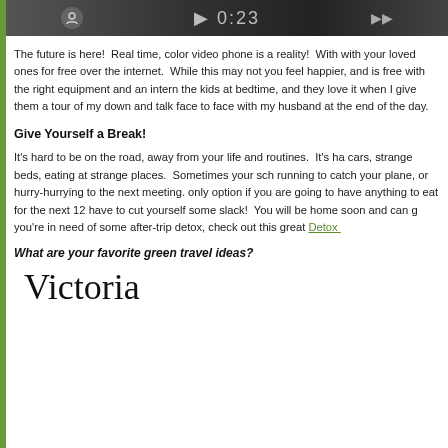[Figure (photo): Dark banner image at top of page showing icons or interface elements]
The future is here!  Real time, color video phone is a reality!  With [text cut off] with your loved ones for free over the internet.  While this may not [text cut off] you feel happier, and is free with the right equipment and an intern[text cut off] the kids at bedtime, and they love it when I give them a tour of my [text cut off] down and talk face to face with my husband at the end of the day.
Give Yourself a Break!
It's hard to be on the road, away from your life and routines.  It's ha[text cut off] cars, strange beds, eating at strange places.  Sometimes your sch[text cut off] running to catch your plane, or hurry-hurrying to the next meeting. [text cut off] only option if you are going to have anything to eat for the next 12 [text cut off] have to cut yourself some slack!  You will be home soon and can g[text cut off] you're in need of some after-trip detox, check out this great Detox [link cut off]
What are your favorite green travel ideas?
Victoria